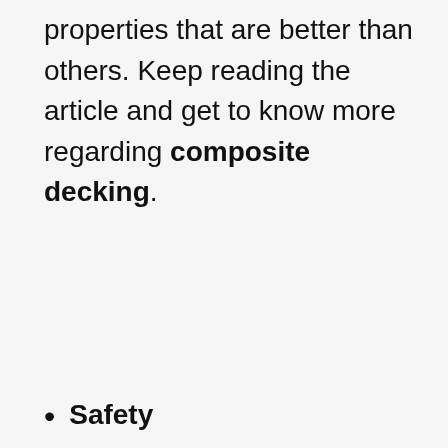properties that are better than others. Keep reading the article and get to know more regarding composite decking.
Safety